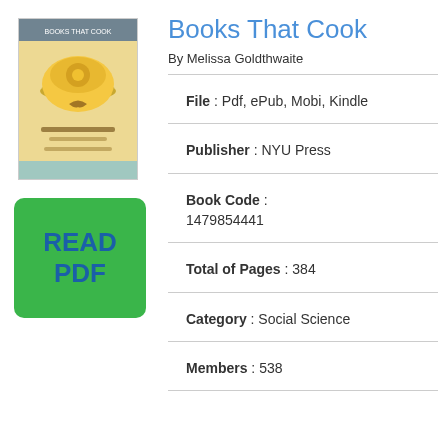[Figure (illustration): Book cover thumbnail for 'Books That Cook' by Melissa Goldthwaite, showing a food/cooking themed cover with warm yellowish tones]
[Figure (illustration): Green rounded rectangle button with blue text reading 'READ PDF']
Books That Cook
By Melissa Goldthwaite
File : Pdf, ePub, Mobi, Kindle
Publisher : NYU Press
Book Code : 1479854441
Total of Pages : 384
Category : Social Science
Members : 538